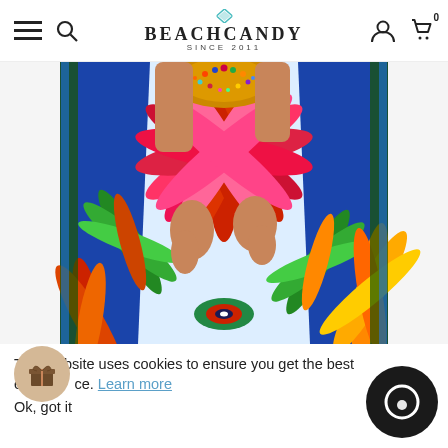BEACHCANDY SINCE 2011
[Figure (photo): A woman wearing a colorful kaftan/maxi dress with a vibrant tropical/bohemian print featuring bold blues, reds, greens, oranges and pinks with sunburst and feather-like patterns, jeweled neckline detail. Only the torso and hands are visible.]
This website uses cookies to ensure you get the best experience. Learn more
Ok, got it